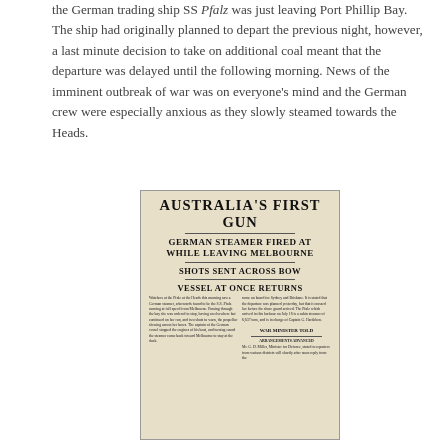the German trading ship SS Pfalz was just leaving Port Phillip Bay. The ship had originally planned to depart the previous night, however, a last minute decision to take on additional coal meant that the departure was delayed until the following morning. News of the imminent outbreak of war was on everyone's mind and the German crew were especially anxious as they slowly steamed towards the Heads.
[Figure (photo): A newspaper clipping with headlines reading: AUSTRALIA'S FIRST GUN / GERMAN STEAMER FIRED AT WHILE LEAVING MELBOURNE / SHOTS SENT ACROSS BOW / VESSEL AT ONCE RETURNS, followed by small body text columns and a subheading WAR MINISTER TOLD]